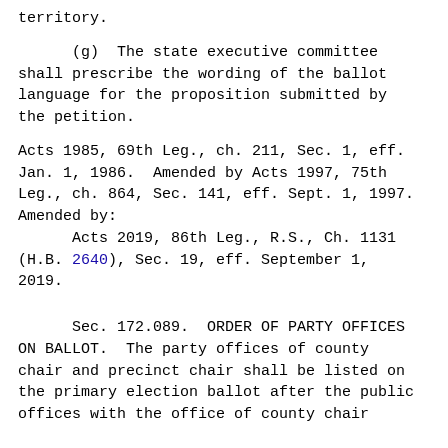territory.
(g)  The state executive committee shall prescribe the wording of the ballot language for the proposition submitted by the petition.
Acts 1985, 69th Leg., ch. 211, Sec. 1, eff. Jan. 1, 1986.  Amended by Acts 1997, 75th Leg., ch. 864, Sec. 141, eff. Sept. 1, 1997. Amended by:
    Acts 2019, 86th Leg., R.S., Ch. 1131 (H.B. 2640), Sec. 19, eff. September 1, 2019.
Sec. 172.089.  ORDER OF PARTY OFFICES ON BALLOT.  The party offices of county chair and precinct chair shall be listed on the primary election ballot after the public offices with the office of county chair